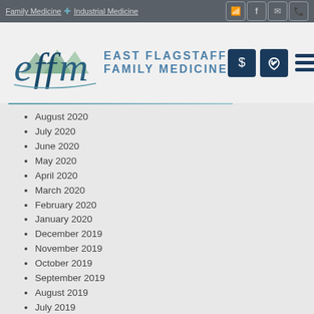Family Medicine + Industrial Medicine
[Figure (logo): East Flagstaff Family Medicine logo with stylized 'effm' script and mountain graphic]
August 2020
July 2020
June 2020
May 2020
April 2020
March 2020
February 2020
January 2020
December 2019
November 2019
October 2019
September 2019
August 2019
July 2019
June 2019
May 2019
April 2019
March 2019
February 2019
January 2019